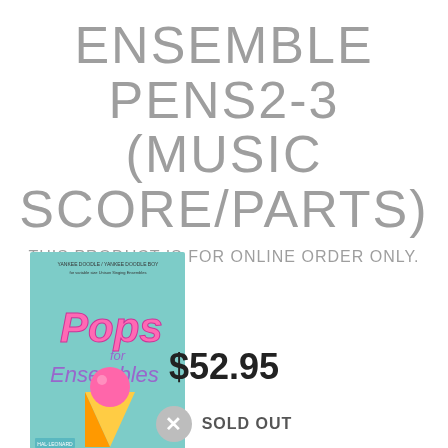ENSEMBLE PENS2-3 (MUSIC SCORE/PARTS)
THIS PRODUCT IS FOR ONLINE ORDER ONLY.
[Figure (photo): Book cover of Pops for Ensembles music score with teal background and colorful logo]
$52.95
SOLD OUT